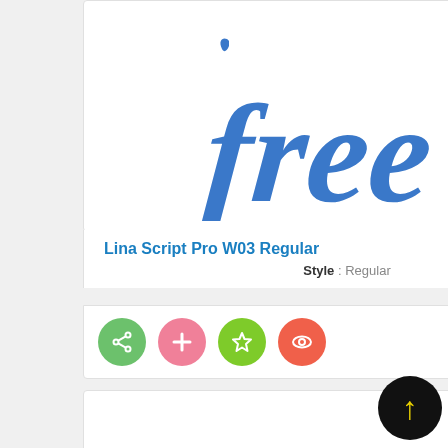[Figure (illustration): Font preview showing 'free' written in Lina Script Pro W03 Regular style in blue cursive/calligraphic text]
Lina Script Pro W03 Regular
Style : Regular
[Figure (illustration): Four colored circular action buttons: green share icon, pink plus icon, green star icon, red/orange eye icon]
[Figure (illustration): Font preview showing 'FREE' in a bold furry/rough textured golden/tan font style]
[Figure (illustration): Black circular button with yellow upward arrow icon (scroll-to-top button)]